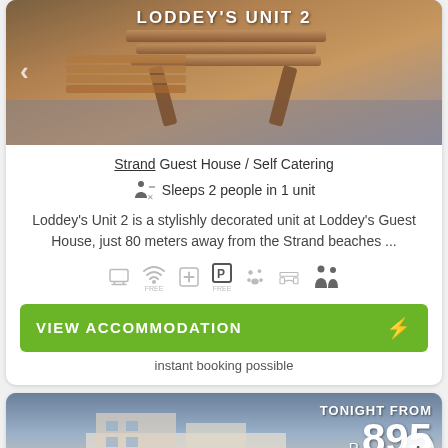[Figure (photo): Outdoor wooden furniture/lounge chairs photo with title LODDEY'S UNIT 2 overlaid]
Strand Guest House / Self Catering
Sleeps 2 people in 1 unit
Loddey's Unit 2 is a stylishly decorated unit at Loddey's Guest House, just 80 meters away from the Strand beaches ...
[Figure (infographic): Row of amenity icons: TV, WiFi FREE, plus/cross, Parking FREE, pets, pool/lounge, family]
VIEW ACCOMMODATION
instant booking possible
[Figure (photo): Second accommodation card photo showing building exterior with TONIGHT FROM R 895 price overlay]